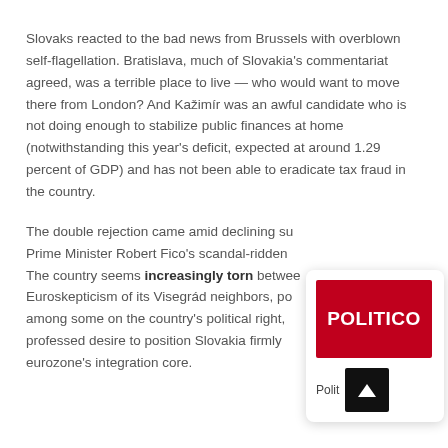Slovaks reacted to the bad news from Brussels with overblown self-flagellation. Bratislava, much of Slovakia's commentariat agreed, was a terrible place to live — who would want to move there from London? And Kažimír was an awful candidate who is not doing enough to stabilize public finances at home (notwithstanding this year's deficit, expected at around 1.29 percent of GDP) and has not been able to eradicate tax fraud in the country.
The double rejection came amid declining su... Prime Minister Robert Fico's scandal-ridden... The country seems increasingly torn betwe... Euroskepticism of its Visegrád neighbors, po... among some on the country's political right,... professed desire to position Slovakia firmly... eurozone's integration core.
[Figure (logo): Politico logo card: red square with POLITICO text in white, below a black box with white up-arrow]